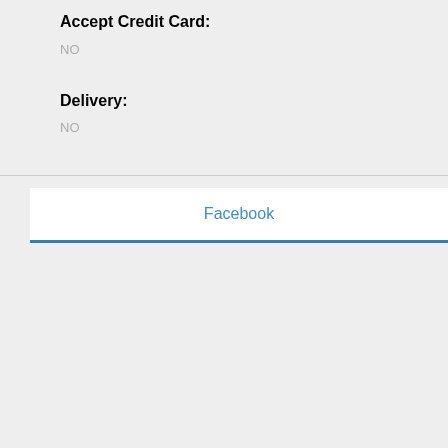Accept Credit Card:
NO
Delivery:
NO
Facebook